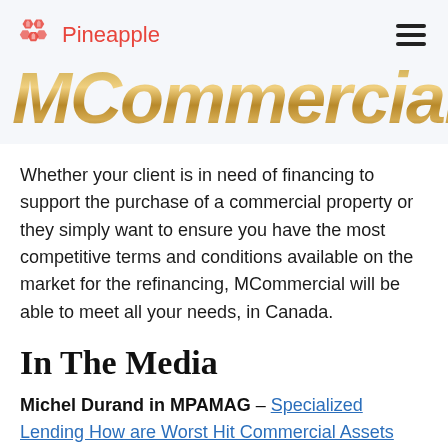Pineapple MCommercial
MCommercial
Whether your client is in need of financing to support the purchase of a commercial property or they simply want to ensure you have the most competitive terms and conditions available on the market for the refinancing, MCommercial will be able to meet all your needs, in Canada.
In The Media
Michel Durand in MPAMAG – Specialized Lending How are Worst Hit Commercial Assets